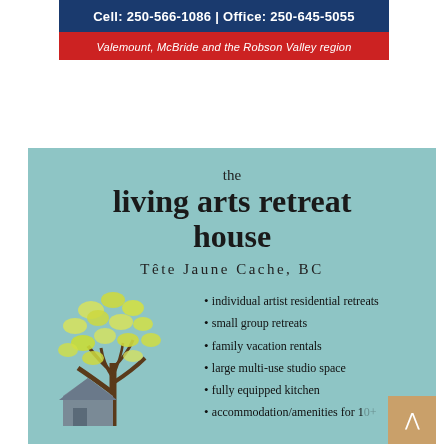[Figure (infographic): Dark blue banner with white bold text showing phone numbers: Cell: 250-566-1086 | Office: 250-645-5055]
Cell: 250-566-1086 | Office: 250-645-5055
Valemount, McBride and the Robson Valley region
[Figure (infographic): Light teal/blue-green advertisement card for 'the living arts retreat house' in Tête Jaune Cache, BC with a stylized tree and house illustration and bullet point list of amenities]
the living arts retreat house
Tête Jaune Cache, BC
individual artist residential retreats
small group retreats
family vacation rentals
large multi-use studio space
fully equipped kitchen
accommodation/amenities for 10+